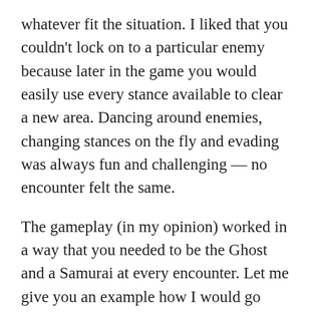whatever fit the situation. I liked that you couldn't lock on to a particular enemy because later in the game you would easily use every stance available to clear a new area. Dancing around enemies, changing stances on the fly and evading was always fun and challenging — no encounter felt the same.
The gameplay (in my opinion) worked in a way that you needed to be the Ghost and a Samurai at every encounter. Let me give you an example how I would go about an encounter — I would use my wind chimes to lure an enemy or two in the right position to take them out. From here I would get find high ground and assassinate another enemy or two from above. Finally, I would use poison and hallucination darts to cause disruption in a group of enemies (usually by a bonfire) creating complete chaos. With half or more